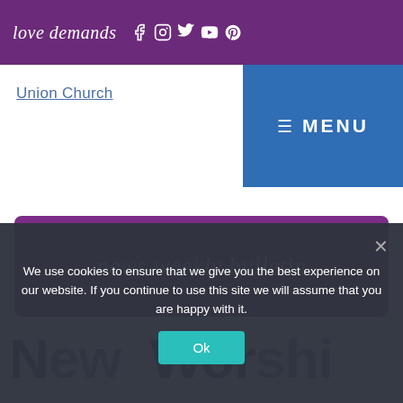love demands [social icons: Facebook, Instagram, Twitter, YouTube, Pinterest]
Union Church
≡ MENU
[Figure (illustration): Purple brush-stroke banner with cursive white text reading 'news weekly bulletin']
N... l... ow... di...  (partially visible large heading)
We use cookies to ensure that we give you the best experience on our website. If you continue to use this site we will assume that you are happy with it.
Ok